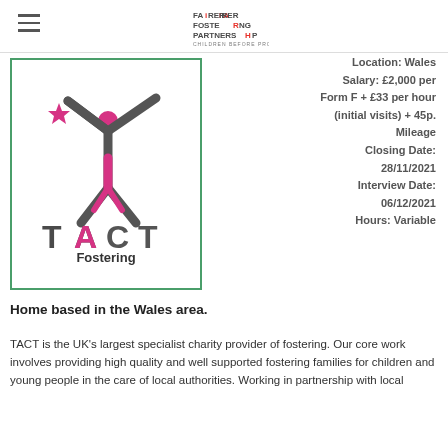Fairer Fostering Partnership
[Figure (logo): TACT Fostering logo — figure with arms raised, text TACT Fostering, inside a green-bordered box]
Location: Wales
Salary: £2,000 per Form F + £33 per hour (initial visits) + 45p. Mileage
Closing Date: 28/11/2021
Interview Date: 06/12/2021
Hours: Variable
Home based in the Wales area.
TACT is the UK's largest specialist charity provider of fostering. Our core work involves providing high quality and well supported fostering families for children and young people in the care of local authorities. Working in partnership with local